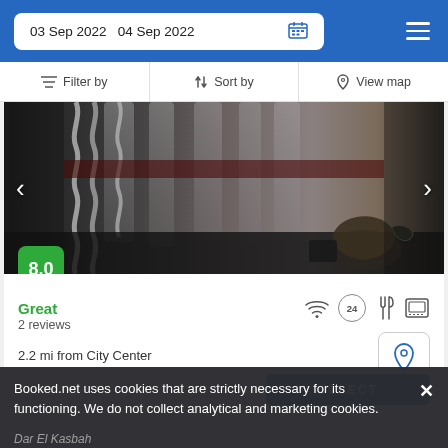03 Sep 2022   04 Sep 2022
Filter by   Sort by   View map
[Figure (photo): Dark interior photo showing decorative wavy metal bars/railings and a traditional metal teapot on a table]
8.0
Great
2 reviews
2.2 mi from City Center
300 yd from Kasbah Museum
SELECT
Booked.net uses cookies that are strictly necessary for its functioning. We do not collect analytical and marketing cookies.
Dar El Kasbah